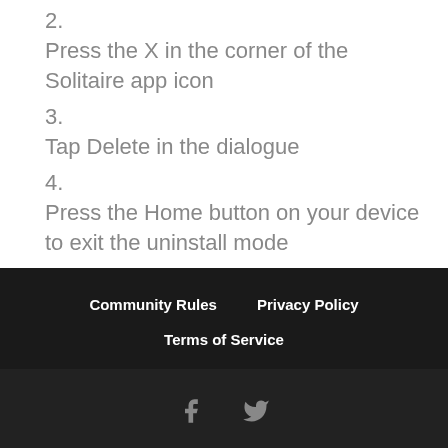2.
Press the X in the corner of the Solitaire app icon
3.
Tap Delete in the dialogue
4.
Press the Home button on your device to exit the uninstall mode
Community Rules  Privacy Policy  Terms of Service
Website design & build by Tremulant Design